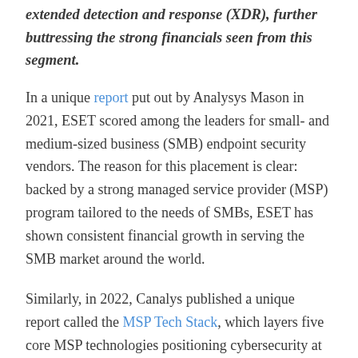extended detection and response (XDR), further buttressing the strong financials seen from this segment.
In a unique report put out by Analysys Mason in 2021, ESET scored among the leaders for small- and medium-sized business (SMB) endpoint security vendors. The reason for this placement is clear: backed by a strong managed service provider (MSP) program tailored to the needs of SMBs, ESET has shown consistent financial growth in serving the SMB market around the world.
Similarly, in 2022, Canalys published a unique report called the MSP Tech Stack, which layers five core MSP technologies positioning cybersecurity at the bottom. Although ESET did not feature among the